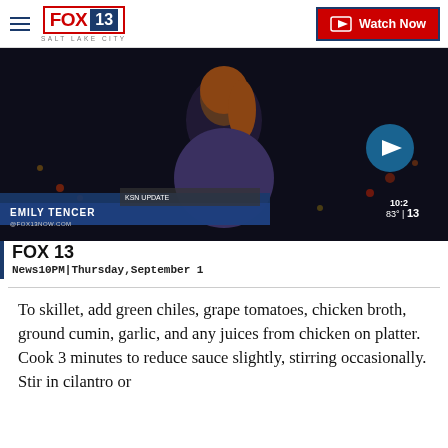FOX 13 SALT LAKE CITY | Watch Now
[Figure (screenshot): Video thumbnail of news anchor Emily Tencer on FOX 13 Salt Lake City news broadcast, with lower-third graphic showing her name and email, temperature badge showing 83°, and a play button arrow overlay. Caption strip below reads: FOX 13 / News10PM|Thursday,September 1]
FOX 13
News10PM|Thursday,September 1
To skillet, add green chiles, grape tomatoes, chicken broth, ground cumin, garlic, and any juices from chicken on platter. Cook 3 minutes to reduce sauce slightly, stirring occasionally. Stir in cilantro or